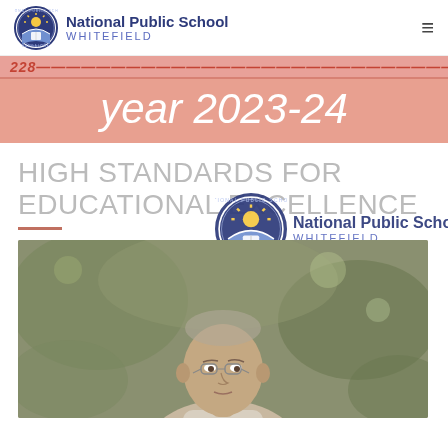National Public School WHITEFIELD
year 2023-24
HIGH STANDARDS FOR EDUCATIONAL EXCELLENCE
[Figure (logo): National Public School Whitefield circular logo with school crest]
[Figure (photo): Portrait photograph of an elderly man with glasses, outdoors with green foliage background]